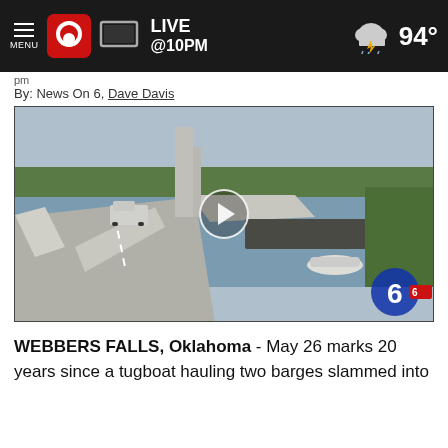MENU | 9 (News On 6 logo) | [TV icon] LIVE @10PM | ☁⚡ 94°
pm
By: News On 6, Dave Davis
[Figure (photo): Surveillance or traffic camera footage showing a bridge over a wide river. A white pickup truck is visible on the bridge roadway. A large barge is visible in the river next to the bridge. A white vehicle appears to be partially submerged in the water. Trees line the far riverbank. A News 6 logo watermark is visible in the lower right corner. A circular play button is overlaid in the center of the image.]
WEBBERS FALLS, Oklahoma - May 26 marks 20 years since a tugboat hauling two barges slammed into